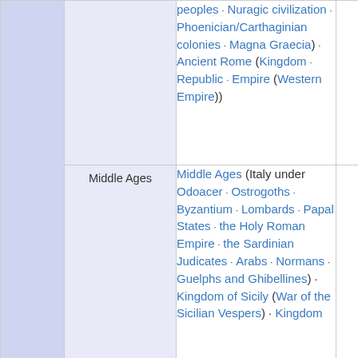|  |  | peoples · Nuragic civilization · Phoenician/Carthaginian colonies · Magna Graecia) · Ancient Rome (Kingdom · Republic · Empire (Western Empire)) |
|  | Middle Ages | Middle Ages (Italy under Odoacer · Ostrogoths · Byzantium · Lombards · Papal States · the Holy Roman Empire · the Sardinian Judicates · Arabs · Normans · Guelphs and Ghibellines) · Kingdom of Sicily (War of the Sicilian Vespers) · Kingdom |